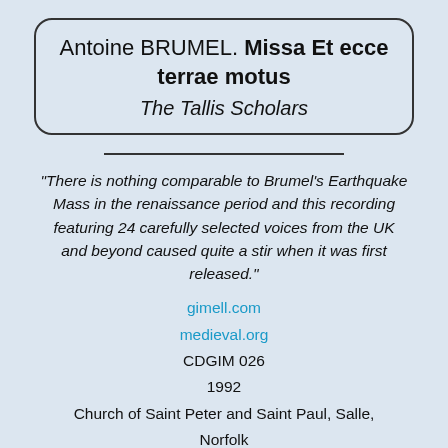Antoine BRUMEL. Missa Et ecce terrae motus
The Tallis Scholars
"There is nothing comparable to Brumel's Earthquake Mass in the renaissance period and this recording featuring 24 carefully selected voices from the UK and beyond caused quite a stir when it was first released."
gimell.com
medieval.org
CDGIM 026
1992
Church of Saint Peter and Saint Paul, Salle, Norfolk